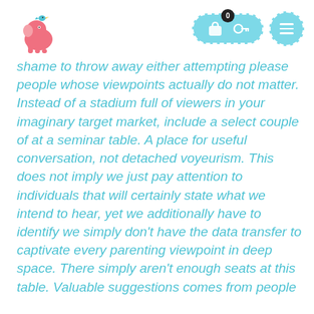[Figure (logo): Pink elephant logo with blue bird on top, cartoon style]
[Figure (screenshot): Navigation bar with teal cart icon showing badge 0, key icon, and hamburger menu button]
shame to throw away either attempting please people whose viewpoints actually do not matter. Instead of a stadium full of viewers in your imaginary target market, include a select couple of at a seminar table. A place for useful conversation, not detached voyeurism. This does not imply we just pay attention to individuals that will certainly state what we intend to hear, yet we additionally have to identify we simply don't have the data transfer to captivate every parenting viewpoint in deep space. There simply aren't enough seats at this table. Valuable suggestions comes from people